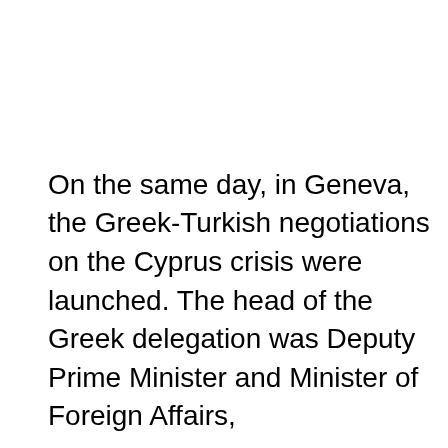On the same day, in Geneva, the Greek-Turkish negotiations on the Cyprus crisis were launched. The head of the Greek delegation was Deputy Prime Minister and Minister of Foreign Affairs,